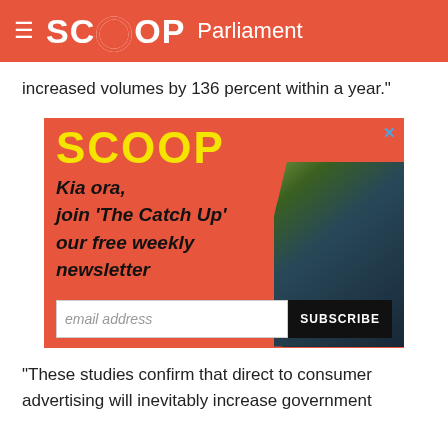SCOOP Parliament
increased volumes by 136 percent within a year."
[Figure (infographic): Scoop newsletter advertisement banner with yellow SCOOP logo, text 'Kia ora, join \'The Catch Up\' our free weekly newsletter', email address input field and SUBSCRIBE button, with a tui bird photo on the right side, on a red/salmon background.]
"These studies confirm that direct to consumer advertising will inevitably increase government